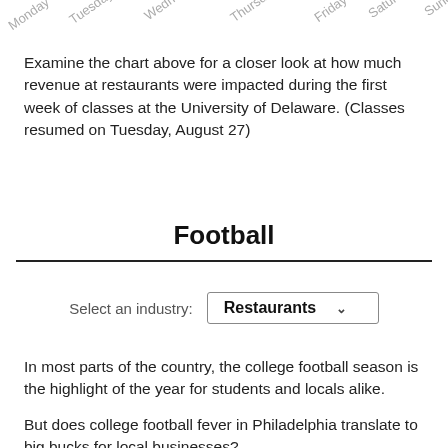[Figure (other): Day-of-week labels (Monday through Sunday) shown at an angle across the top of the page, as axis labels from a chart above]
Examine the chart above for a closer look at how much revenue at restaurants were impacted during the first week of classes at the University of Delaware. (Classes resumed on Tuesday, August 27)
Football
Select an industry:
Restaurants
In most parts of the country, the college football season is the highlight of the year for students and locals alike.
But does college football fever in Philadelphia translate to big bucks for local businesses?